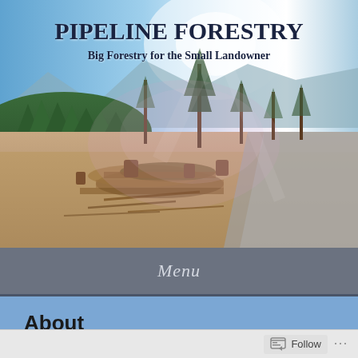[Figure (photo): Outdoor forestry scene showing a cleared logging area with log piles, tree stumps, sparse tall trees, mountain range in the background, blue sky, and a gravel road on the right side.]
PIPELINE FORESTRY
Big Forestry for the Small Landowner
Menu
About
About th